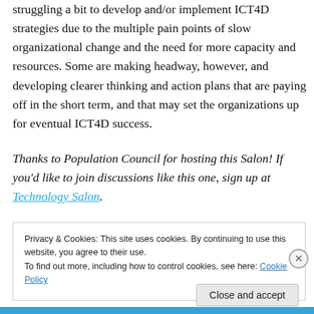struggling a bit to develop and/or implement ICT4D strategies due to the multiple pain points of slow organizational change and the need for more capacity and resources. Some are making headway, however, and developing clearer thinking and action plans that are paying off in the short term, and that may set the organizations up for eventual ICT4D success.
Thanks to Population Council for hosting this Salon! If you'd like to join discussions like this one, sign up at Technology Salon.
Privacy & Cookies: This site uses cookies. By continuing to use this website, you agree to their use. To find out more, including how to control cookies, see here: Cookie Policy